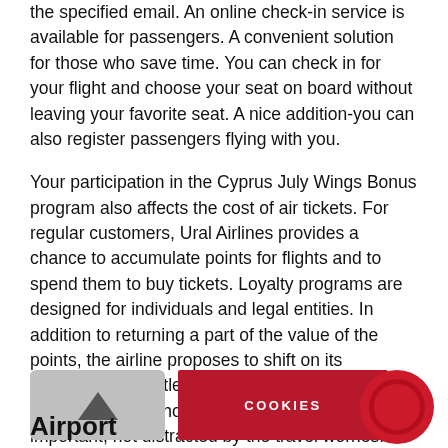the specified email. An online check-in service is available for passengers. A convenient solution for those who save time. You can check in for your flight and choose your seat on board without leaving your favorite seat. A nice addition-you can also register passengers flying with you.
Your participation in the Cyprus July Wings Bonus program also affects the cost of air tickets. For regular customers, Ural Airlines provides a chance to accumulate points for flights and to spend them to buy tickets. Loyalty programs are designed for individuals and legal entities. In addition to returning a part of the value of the points, the airline proposes to shift on its shoulders the settlement of visa and insurance issues. Transfer, hotel, insurance-focus on the important, not distracted by the travel worries.
[Figure (other): Airport button with upward arrow icon and 'Airport' label text]
[Figure (other): Red COOKIES button]
[Figure (other): Red circle icon with inner ring]